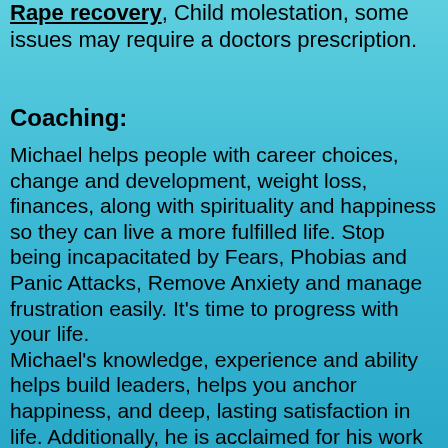Rape recovery, Child molestation, some issues may require a doctors prescription.
Coaching:
Michael helps people with career choices, change and development, weight loss, finances, along with spirituality and happiness so they can live a more fulfilled life.  Stop being incapacitated by Fears, Phobias and Panic Attacks, Remove Anxiety and manage frustration easily.  It's time to progress with your life.
Michael's knowledge, experience and ability helps build leaders, helps you anchor happiness, and deep, lasting satisfaction in life.  Additionally, he is acclaimed for his work as a life coach working with individuals, couples, and families in designing and living